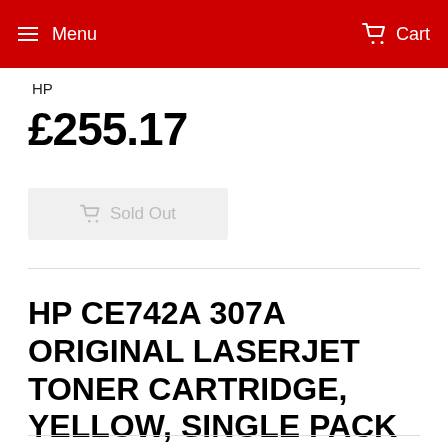Menu  Cart
HP
£255.17
Sold Out
HP CE742A 307A ORIGINAL LASERJET TONER CARTRIDGE, YELLOW, SINGLE PACK